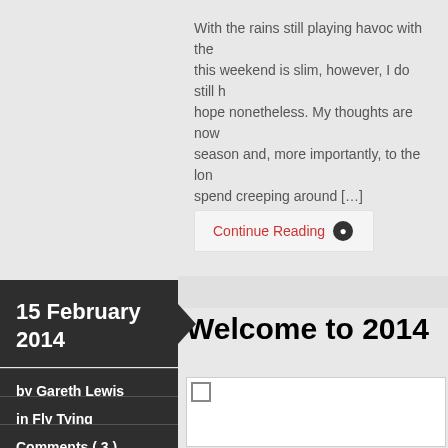With the rains still playing havoc with the this weekend is slim, however, I do still h hope nonetheless. My thoughts are now season and, more importantly, to the lon spend creeping around […]
Continue Reading ▶
Welcome to 2014
15 February 2014
by Gareth Lewis
in Fly Tying
Comments ( 3 )
[Figure (photo): Image placeholder for Welcome to 2014 article]